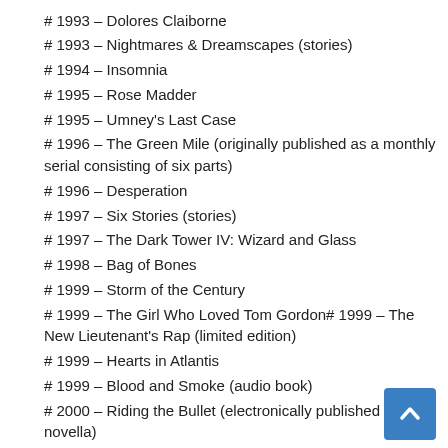# 1993 – Dolores Claiborne
# 1993 – Nightmares & Dreamscapes (stories)
# 1994 – Insomnia
# 1995 – Rose Madder
# 1995 – Umney's Last Case
# 1996 – The Green Mile (originally published as a monthly serial consisting of six parts)
# 1996 – Desperation
# 1997 – Six Stories (stories)
# 1997 – The Dark Tower IV: Wizard and Glass
# 1998 – Bag of Bones
# 1999 – Storm of the Century
# 1999 – The Girl Who Loved Tom Gordon# 1999 – The New Lieutenant's Rap (limited edition)
# 1999 – Hearts in Atlantis
# 1999 – Blood and Smoke (audio book)
# 2000 – Riding the Bullet (electronically published novella)
# 2000 – The Plant (electronically published trilogy)
# 2000 – Secret Windows
# 2000 – On Writing: A Memoir of the Craft (nonfiction